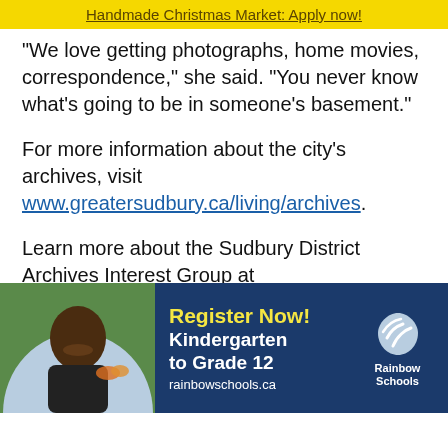Handmade Christmas Market: Apply now!
“We love getting photographs, home movies, correspondence,” she said. “You never know what’s going to be in someone’s basement.”
For more information about the city’s archives, visit www.greatersudbury.ca/living/archives.
Learn more about the Sudbury District Archives Interest Group at www.sudburyarchives.ca.
[Figure (screenshot): Advertisement banner showing 'Simple' text with a bottom ad for Rainbow Schools: Register Now! Kindergarten to Grade 12, rainbowschools.ca, featuring a child holding a butterfly]